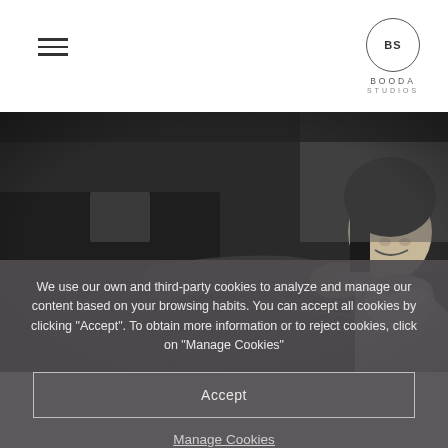[Figure (logo): Booda Studios logo: BS in a circle above text BOODA STUDIOS]
[Figure (photo): Black and white wedding photo: an older man in a suit reaches into a car to hold hands with a smiling bride holding flowers]
We use our own and third-party cookies to analyze and manage our content based on your browsing habits. You can accept all cookies by clicking “Accept”. To obtain more information or to reject cookies, click on "Manage Cookies"
Accept
Manage Cookies